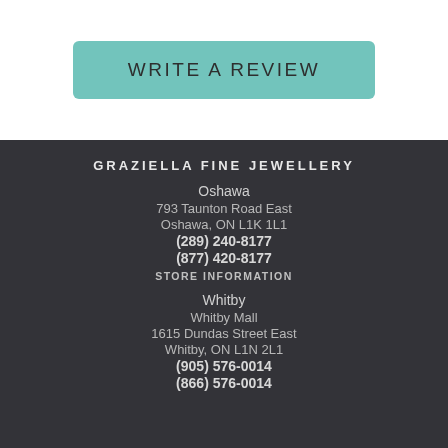[Figure (other): Teal/mint colored rounded rectangle button with text 'WRITE A REVIEW']
GRAZIELLA FINE JEWELLERY
Oshawa
793 Taunton Road East
Oshawa, ON L1K 1L1
(289) 240-8177
(877) 420-8177
STORE INFORMATION
Whitby
Whitby Mall
1615 Dundas Street East
Whitby, ON L1N 2L1
(905) 576-0014
(866) 576-0014